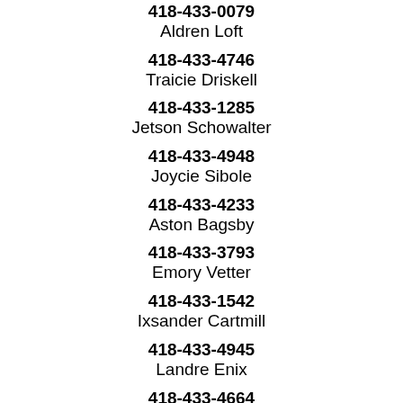418-433-0079
Aldren Loft
418-433-4746
Traicie Driskell
418-433-1285
Jetson Schowalter
418-433-4948
Joycie Sibole
418-433-4233
Aston Bagsby
418-433-3793
Emory Vetter
418-433-1542
Ixsander Cartmill
418-433-4945
Landre Enix
418-433-4664
Lundrea Suman